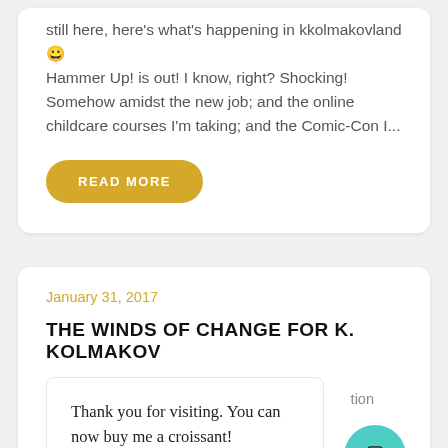still here, here's what's happening in kkolmakovland 😀 Hammer Up! is out! I know, right? Shocking! Somehow amidst the new job; and the online childcare courses I'm taking; and the Comic-Con I...
READ MORE
January 31, 2017
THE WINDS OF CHANGE FOR K. KOLMAKOV
Thank you for visiting. You can now buy me a croissant!
tion
writing